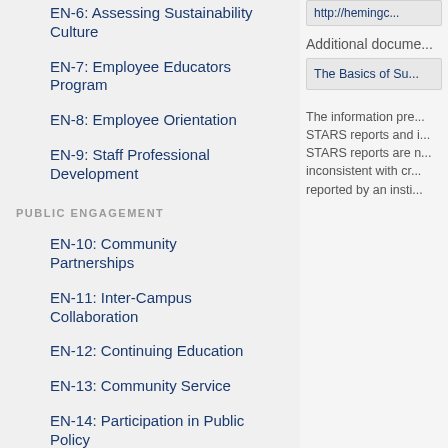EN-6: Assessing Sustainability Culture
EN-7: Employee Educators Program
EN-8: Employee Orientation
EN-9: Staff Professional Development
PUBLIC ENGAGEMENT
EN-10: Community Partnerships
EN-11: Inter-Campus Collaboration
EN-12: Continuing Education
EN-13: Community Service
EN-14: Participation in Public Policy
http://hemingc...
Additional docume...
The Basics of Su...
The information pre... STARS reports and i... STARS reports are n... inconsistent with cr... reported by an insti...